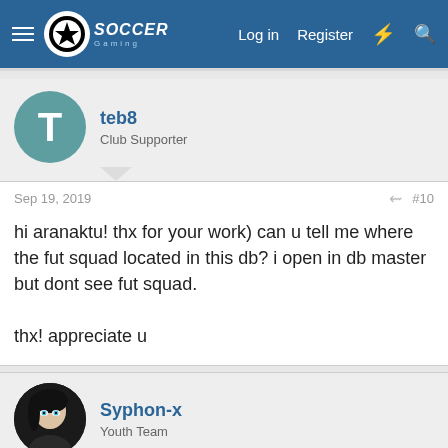SoccerGaming — Log in  Register
teb8
Club Supporter
Sep 19, 2019
#10
hi aranaktu! thx for your work) can u tell me where the fut squad located in this db? i open in db master but dont see fut squad.

thx! appreciate u
Syphon-x
Youth Team
Sep 19, 2019
#11
Aranaktu
[Figure (screenshot): Burger King advertisement overlay: 'Eat like a King for only $6' with Burger King logo and navigation arrow icon. Close X button visible.]
I've ext...  Link